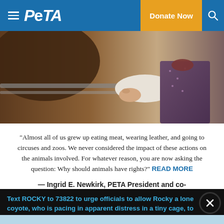PETA — Donate Now
[Figure (photo): Person feeding or touching a brown cow through a metal fence rail. The person is wearing a white shirt and a patterned vest with a dark scarf.]
“Almost all of us grew up eating meat, wearing leather, and going to circuses and zoos. We never considered the impact of these actions on the animals involved. For whatever reason, you are now asking the question: Why should animals have rights?” READ MORE
— Ingrid E. Newkirk, PETA President and co-author of Animalkind
Text ROCKY to 73822 to urge officials to allow Rocky a lone coyote, who is pacing in apparent distress in a tiny cage, to move to an accredited sanctuary.